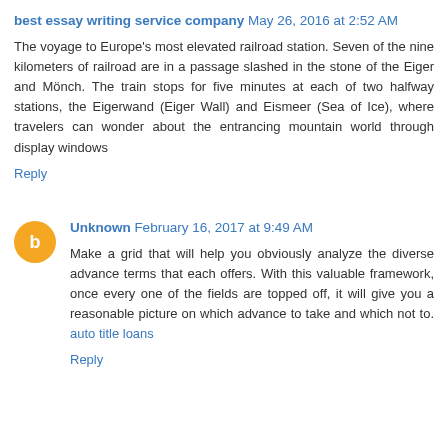best essay writing service company May 26, 2016 at 2:52 AM
The voyage to Europe's most elevated railroad station. Seven of the nine kilometers of railroad are in a passage slashed in the stone of the Eiger and Mönch. The train stops for five minutes at each of two halfway stations, the Eigerwand (Eiger Wall) and Eismeer (Sea of Ice), where travelers can wonder about the entrancing mountain world through display windows
Reply
Unknown February 16, 2017 at 9:49 AM
Make a grid that will help you obviously analyze the diverse advance terms that each offers. With this valuable framework, once every one of the fields are topped off, it will give you a reasonable picture on which advance to take and which not to. auto title loans
Reply